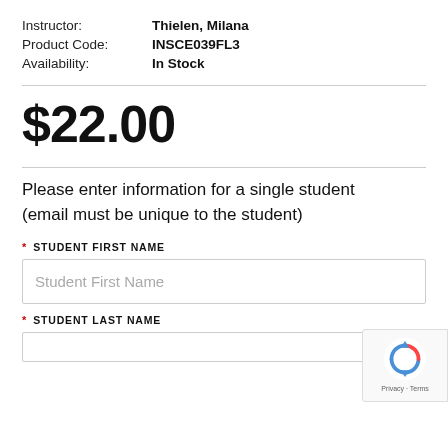Instructor: Thielen, Milana
Product Code: INSCE039FL3
Availability: In Stock
$22.00
Please enter information for a single student (email must be unique to the student)
* STUDENT FIRST NAME
Student First Name
* STUDENT LAST NAME